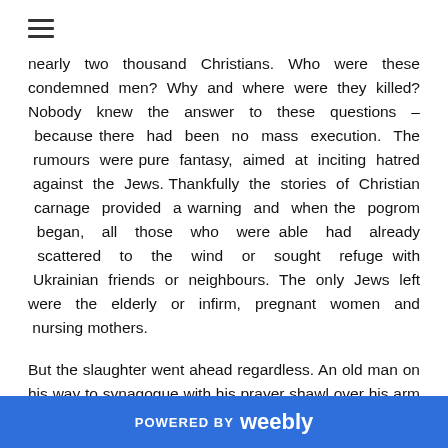≡
nearly two thousand Christians. Who were these condemned men? Why and where were they killed? Nobody knew the answer to these questions – because there had been no mass execution. The rumours were pure fantasy, aimed at inciting hatred against the Jews. Thankfully the stories of Christian carnage provided a warning and when the pogrom began, all those who were able had already scattered to the wind or sought refuge with Ukrainian friends or neighbours. The only Jews left were the elderly or infirm, pregnant women and nursing mothers.
But the slaughter went ahead regardless. An old man on his way to synagogue with his prayer shawl over his arm was the first to die. He was propped against a tree and shot. But the bullet didn't kill him. The old man dragged
POWERED BY weebly